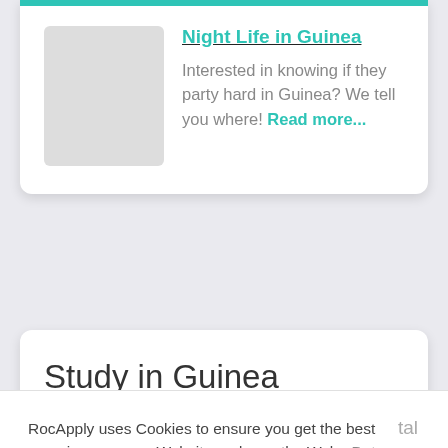Night Life in Guinea
Interested in knowing if they party hard in Guinea? We tell you where! Read more...
Study in Guinea
RocApply uses Cookies to ensure you get the best experience on our Website and over the Web.  Data Privacy
Got it!
Alright!
friendly people, and a variety of flora and